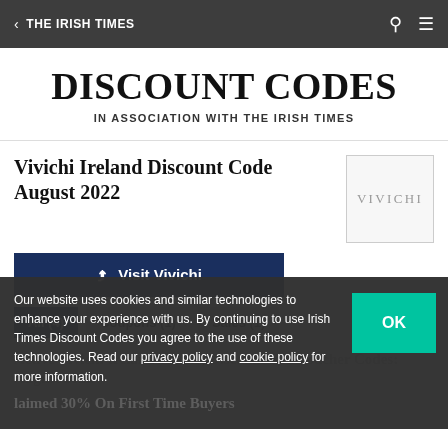< THE IRISH TIMES
DISCOUNT CODES
IN ASSOCIATION WITH THE IRISH TIMES
Vivichi Ireland Discount Code August 2022
Visit Vivichi
All (4)   Coupons (1)   Sales (1)
Our website uses cookies and similar technologies to enhance your experience with us. By continuing to use Irish Times Discount Codes you agree to the use of these technologies. Read our privacy policy and cookie policy for more information.